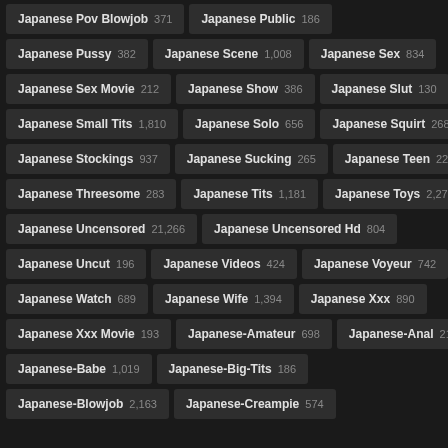Japanese Pov Blowjob 371
Japanese Public 186
Japanese Pussy 382
Japanese Scene 1,008
Japanese Sex 834
Japanese Sex Movie 212
Japanese Show 386
Japanese Slut 130
Japanese Small Tits 1,810
Japanese Solo 656
Japanese Squirt 268
Japanese Stockings 937
Japanese Sucking 265
Japanese Teen 224
Japanese Threesome 283
Japanese Tits 1,181
Japanese Toys 2,276
Japanese Uncensored 21,266
Japanese Uncensored Hd 804
Japanese Uncut 196
Japanese Videos 424
Japanese Voyeur 742
Japanese Watch 689
Japanese Wife 1,394
Japanese Xxx 890
Japanese Xxx Movie 193
Japanese-Amateur 698
Japanese-Anal 210
Japanese-Babe 1,019
Japanese-Big-Tits 186
Japanese-Blowjob 2,163
Japanese-Creampie 574